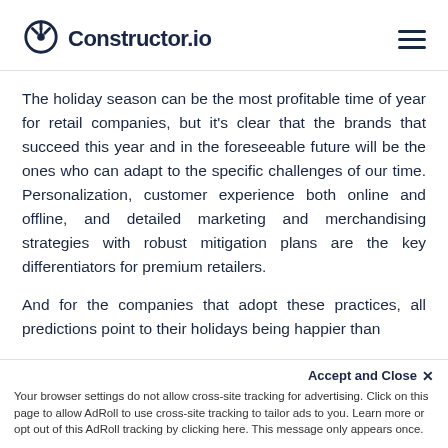Constructor.io
The holiday season can be the most profitable time of year for retail companies, but it's clear that the brands that succeed this year and in the foreseeable future will be the ones who can adapt to the specific challenges of our time. Personalization, customer experience both online and offline, and detailed marketing and merchandising strategies with robust mitigation plans are the key differentiators for premium retailers.
And for the companies that adopt these practices, all predictions point to their holidays being happier than most
Accept and Close ✕ Your browser settings do not allow cross-site tracking for advertising. Click on this page to allow AdRoll to use cross-site tracking to tailor ads to you. Learn more or opt out of this AdRoll tracking by clicking here. This message only appears once.